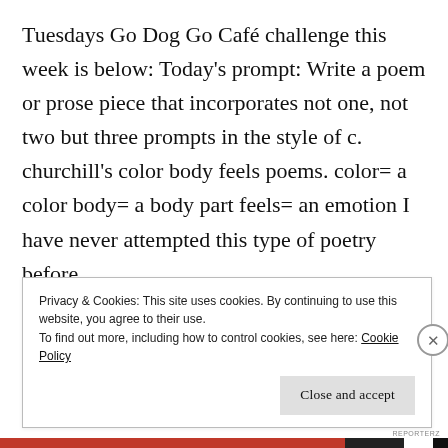Tuesdays Go Dog Go Café challenge this week is below: Today's prompt: Write a poem or prose piece that incorporates not one, not two but three prompts in the style of c. churchill's color body feels poems. color= a color body= a body part feels= an emotion I have never attempted this type of poetry before …
CONTINUE READING →
Privacy & Cookies: This site uses cookies. By continuing to use this website, you agree to their use.
To find out more, including how to control cookies, see here: Cookie Policy
Close and accept